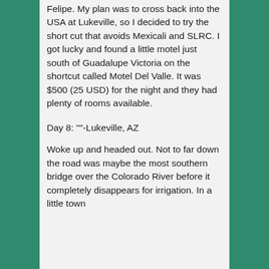Felipe. My plan was to cross back into the USA at Lukeville, so I decided to try the short cut that avoids Mexicali and SLRC. I got lucky and found a little motel just south of Guadalupe Victoria on the shortcut called Motel Del Valle. It was $500 (25 USD) for the night and they had plenty of rooms available.
Day 8: ""-Lukeville, AZ
Woke up and headed out. Not to far down the road was maybe the most southern bridge over the Colorado River before it completely disappears for irrigation. In a little town